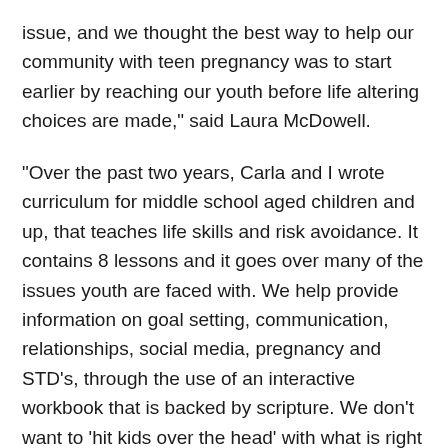issue, and we thought the best way to help our community with teen pregnancy was to start earlier by reaching our youth before life altering choices are made," said Laura McDowell.
“Over the past two years, Carla and I wrote curriculum for middle school aged children and up, that teaches life skills and risk avoidance. It contains 8 lessons and it goes over many of the issues youth are faced with. We help provide information on goal setting, communication, relationships, social media, pregnancy and STD’s, through the use of an interactive workbook that is backed by scripture. We don’t want to ‘hit kids over the head’ with what is right and wrong, instead we want them to consider the choices they will have to face and work through them ahead of time so that they will know the best choice to make before they are ever faced with them,” said Laura. “The Pathway Life Skills and Risk Avoidance curriculum is being taught throughout our community, in various